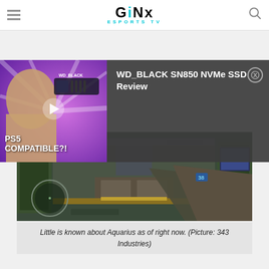GINX ESPORTS TV
[Figure (screenshot): GINX Esports TV website screenshot showing a video ad overlay for WD_BLACK SN850 NVMe SSD Review with PS5 Compatible text, and a Halo game screenshot below]
Little is known about Aquarius as of right now. (Picture: 343 Industries)